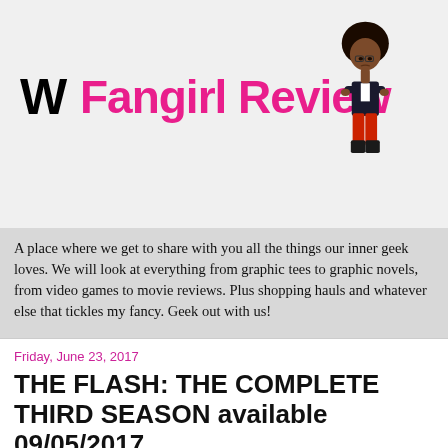[Figure (logo): Fangirl Review logo with stylized W in black and 'Fangirl Review' in pink bold text, plus cartoon mascot of a Black woman in red pants and black jacket with arms crossed]
A place where we get to share with you all the things our inner geek loves. We will look at everything from graphic tees to graphic novels, from video games to movie reviews. Plus shopping hauls and whatever else that tickles my fancy. Geek out with us!
Friday, June 23, 2017
THE FLASH: THE COMPLETE THIRD SEASON available 09/05/2017